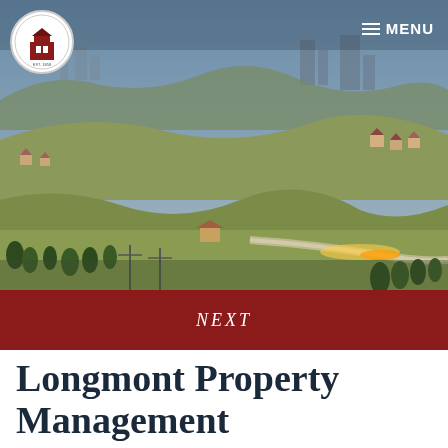[Figure (photo): Aerial/landscape photograph of Longmont, Colorado showing rolling hills, roads, residential areas and city skyline at dusk/twilight]
☰ MENU
NEXT
Longmont Property Management
What you need to know about Longmont